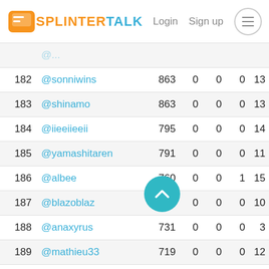SPLINTER TALK — Login   Sign up
| # | User | Score | Col1 | Col2 | Col3 | Col4 |
| --- | --- | --- | --- | --- | --- | --- |
| 182 | @sonniwins | 863 | 0 | 0 | 0 | 13 |
| 183 | @shinamo | 863 | 0 | 0 | 0 | 13 |
| 184 | @iieeiieeii | 795 | 0 | 0 | 0 | 14 |
| 185 | @yamashitaren | 791 | 0 | 0 | 0 | 11 |
| 186 | @albee | 760 | 0 | 0 | 1 | 15 |
| 187 | @blazoblaz | 732 | 0 | 0 | 0 | 10 |
| 188 | @anaxyrus | 731 | 0 | 0 | 0 | 3 |
| 189 | @mathieu33 | 719 | 0 | 0 | 0 | 12 |
| 190 | @bathoi | 700 | 0 |  | 2 |  |
| 191 | @schnapoon | 672 | 0 | 0 | 0 | 1 |
| 192 | @culturearise369 | 671 | 0 | 0 | 0 | 21 |